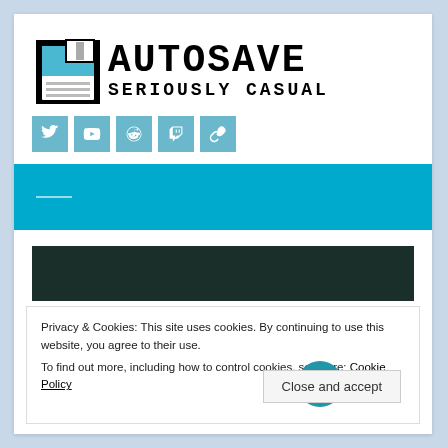[Figure (logo): Autosave Seriously Casual logo with floppy disk icon and social media icons (Twitter, YouTube, Reddit, Twitch, link)]
[Figure (other): Blue navigation banner with white horizontal line]
[Figure (photo): Dark article header image]
Privacy & Cookies: This site uses cookies. By continuing to use this website, you agree to their use.
To find out more, including how to control cookies, see here: Cookie Policy
Close and accept